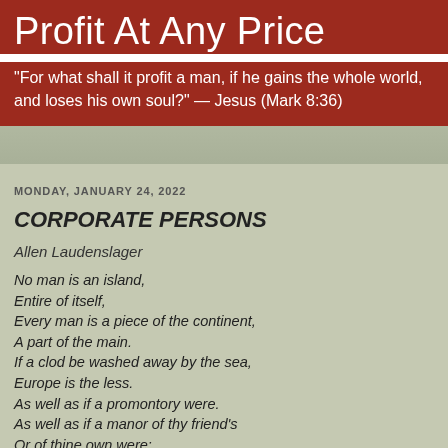Profit At Any Price
"For what shall it profit a man, if he gains the whole world, and loses his own soul?" — Jesus (Mark 8:36)
MONDAY, JANUARY 24, 2022
CORPORATE PERSONS
Allen Laudenslager
No man is an island,
Entire of itself,
Every man is a piece of the continent,
A part of the main.
If a clod be washed away by the sea,
Europe is the less.
As well as if a promontory were.
As well as if a manor of thy friend's
Or of thine own were:
Any man's death diminishes me,
Because I am involved in mankind,
And therefore never send to know for whom the bell tolls;
It tolls for thee.